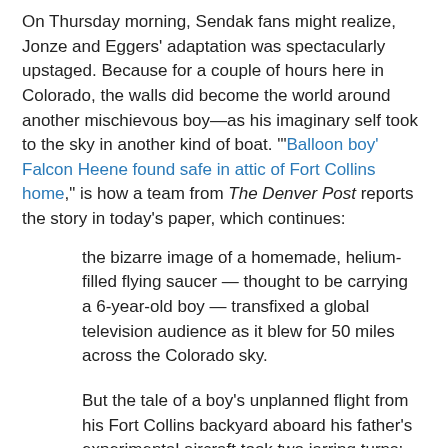On Thursday morning, Sendak fans might realize, Jonze and Eggers' adaptation was spectacularly upstaged. Because for a couple of hours here in Colorado, the walls did become the world around another mischievous boy—as his imaginary self took to the sky in another kind of boat. "'Balloon boy' Falcon Heene found safe in attic of Fort Collins home," is how a team from The Denver Post reports the story in today's paper, which continues:
the bizarre image of a homemade, helium-filled flying saucer — thought to be carrying a 6-year-old boy — transfixed a global television audience as it blew for 50 miles across the Colorado sky.
But the tale of a boy's unplanned flight from his Fort Collins backyard aboard his father's experimental aircraft took two jarring turns: first when the craft settled to earth with no sign of the boy; and later, when young Falcon Heene reappeared, frightened but safe, from his hiding place in the family's garage attic.